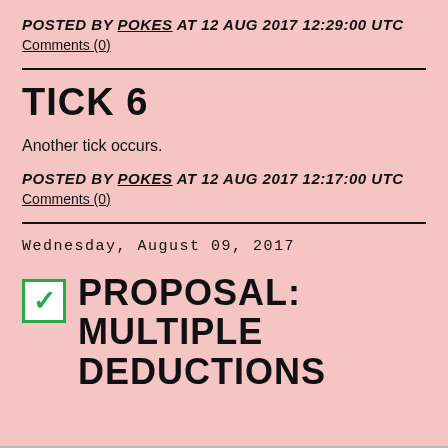POSTED BY POKES AT 12 AUG 2017 12:29:00 UTC
Comments (0)
TICK 6
Another tick occurs.
POSTED BY POKES AT 12 AUG 2017 12:17:00 UTC
Comments (0)
Wednesday, August 09, 2017
PROPOSAL: MULTIPLE DEDUCTIONS